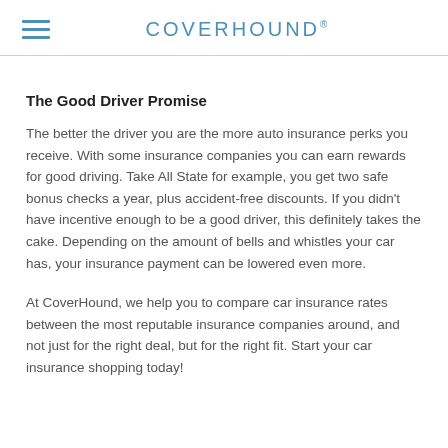COVERHOUND
The Good Driver Promise
The better the driver you are the more auto insurance perks you receive. With some insurance companies you can earn rewards for good driving. Take All State for example, you get two safe bonus checks a year, plus accident-free discounts. If you didn't have incentive enough to be a good driver, this definitely takes the cake. Depending on the amount of bells and whistles your car has, your insurance payment can be lowered even more.
At CoverHound, we help you to compare car insurance rates between the most reputable insurance companies around, and not just for the right deal, but for the right fit. Start your car insurance shopping today!